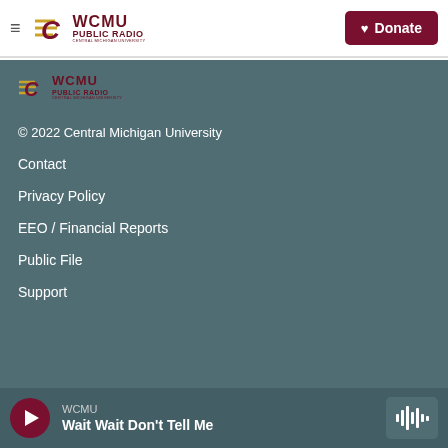WCMU PUBLIC RADIO | Central Michigan University — Donate
[Figure (logo): WCMU Public Radio logo with Central Michigan University flying C in maroon and gold]
© 2022 Central Michigan University
Contact
Privacy Policy
EEO / Financial Reports
Public File
Support
WCMU — Wait Wait Don't Tell Me